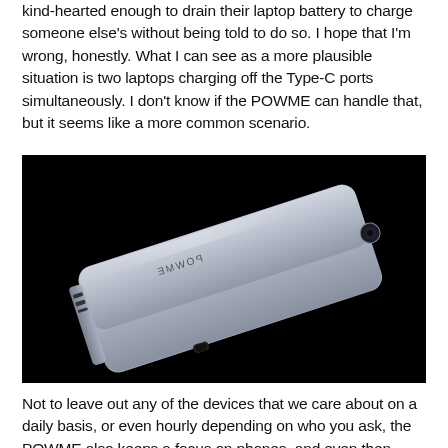kind-hearted enough to drain their laptop battery to charge someone else's without being told to do so. I hope that I'm wrong, honestly. What I can see as a more plausible situation is two laptops charging off the Type-C ports simultaneously. I don't know if the POWME can handle that, but it seems like a more common scenario.
[Figure (photo): A silver/aluminum POWME portable battery pack device photographed at an angle on a black background. The device is rectangular and slim, showing a USB-C port on one side and a circular power button on one end. The POWME logo is visible on the top surface.]
Not to leave out any of the devices that we care about on a daily basis, or even hourly depending on who you ask, the POWME also keeps a focus on phones, and even then...